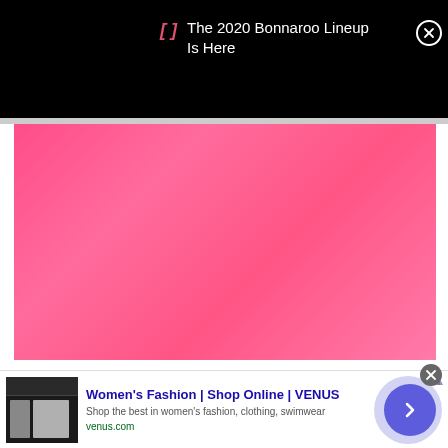The 2020 Bonnaroo Lineup Is Here
[Figure (photo): Pink/magenta gradient background image, likely a Bonnaroo festival promotional image]
[Figure (screenshot): Advertisement for Women's Fashion | Shop Online | VENUS. Shows website screenshot thumbnail, ad title, description 'Shop the best in women's fashion, clothing, swimwear', URL venus.com, and a navigation arrow button.]